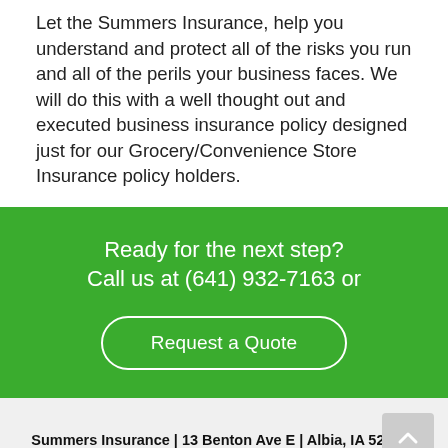Let the Summers Insurance, help you understand and protect all of the risks you run and all of the perils your business faces. We will do this with a well thought out and executed business insurance policy designed just for our Grocery/Convenience Store Insurance policy holders.
Ready for the next step? Call us at (641) 932-7163 or
Request a Quote
Summers Insurance | 13 Benton Ave E | Albia, IA 52531 | (641) 932-7163